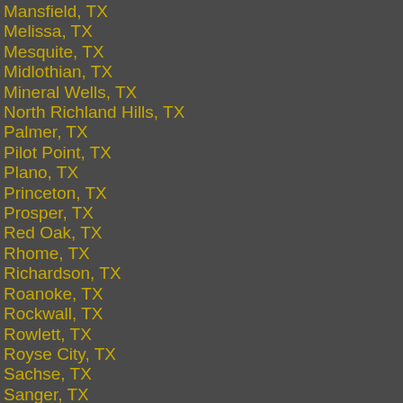Mansfield, TX
Melissa, TX
Mesquite, TX
Midlothian, TX
Mineral Wells, TX
North Richland Hills, TX
Palmer, TX
Pilot Point, TX
Plano, TX
Princeton, TX
Prosper, TX
Red Oak, TX
Rhome, TX
Richardson, TX
Roanoke, TX
Rockwall, TX
Rowlett, TX
Royse City, TX
Sachse, TX
Sanger, TX
Seagoville, TX
Southlake, TX
Springtown, TX
Sunnyvale, TX